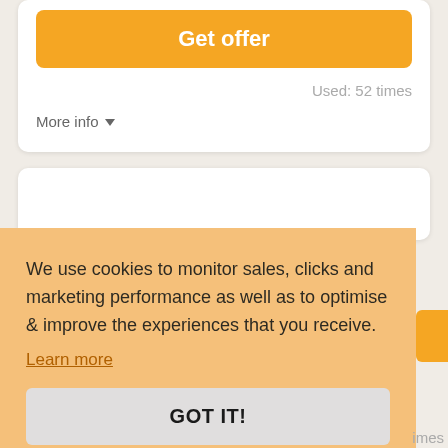Get offer
Used: 52 times
More info ↓
We use cookies to monitor sales, clicks and marketing performance as well as to optimise & improve the experiences that you receive.
Learn more
GOT IT!
imes